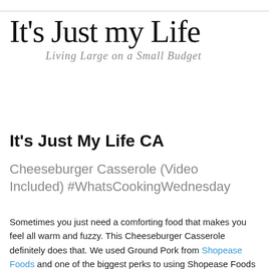It's Just my Life
Living Large on a Small Budget
It's Just My Life CA
Cheeseburger Casserole (Video Included) #WhatsCookingWednesday
Sometimes you just need a comforting food that makes you feel all warm and fuzzy. This Cheeseburger Casserole definitely does that. We used Ground Pork from Shopease Foods and one of the biggest perks to using Shopease Foods is your food prices are locked in for the year. Talk about a win/win situation.